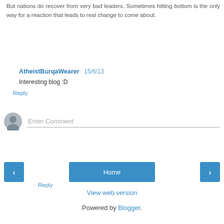But nations do recover from very bad leaders. Sometimes hitting bottom is the only way for a reaction that leads to real change to come about.
Reply
AtheistBurqaWearer  15/6/13
Interesting blog :D
Reply
[Figure (other): User avatar placeholder icon — gray circle with silhouette of a person]
Enter Comment
‹
Home
›
View web version
Powered by Blogger.